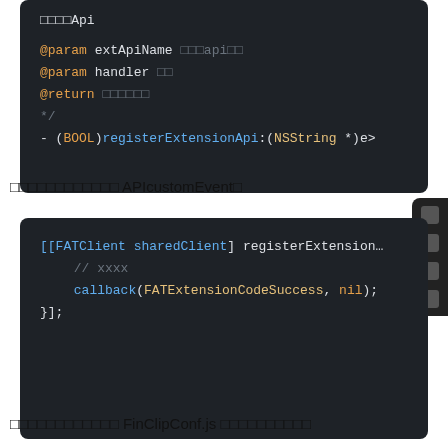[Figure (screenshot): Code block showing Objective-C API doc comments: @param extApiName, @param handler, @return, and method signature - (BOOL)registerExtensionApi:(NSString *)e>]
注册扩展Api的相关说明 APIcustomEvent。
[Figure (screenshot): Code block showing Objective-C usage: [[FATClient sharedClient] registerExtension... // xxxx callback(FATExtensionCodeSuccess, nil); }];]
在小程序的代码中调用 FinClipConf.js 中封装的方法调用。